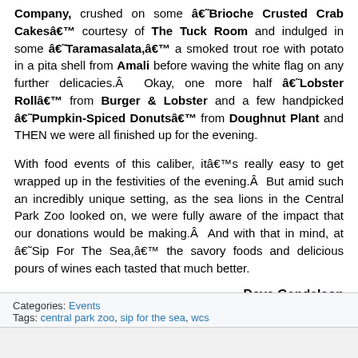Company, crushed on some â€˜Brioche Crusted Crab Cakesâ€™ courtesy of The Tuck Room and indulged in some â€˜Taramasalata,â€™ a smoked trout roe with potato in a pita shell from Amali before waving the white flag on any further delicacies.Â  Okay, one more half â€˜Lobster Rollâ€™ from Burger & Lobster and a few handpicked â€˜Pumpkin-Spiced Donutsâ€™ from Doughnut Plant and THEN we were all finished up for the evening.
With food events of this caliber, itâ€™s really easy to get wrapped up in the festivities of the evening.Â  But amid such an incredibly unique setting, as the sea lions in the Central Park Zoo looked on, we were fully aware of the impact that our donations would be making.Â  And with that in mind, at â€˜Sip For The Sea,â€™ the savory foods and delicious pours of wines each tasted that much better.
- Dave Gendelson
Categories: Events
Tags: central park zoo, sip for the sea, wcs